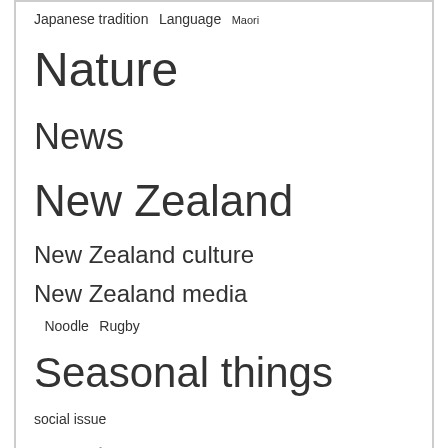[Figure (infographic): Tag cloud with words of varying sizes: Japanese tradition, Language, Maori, Nature (largest), News, New Zealand, New Zealand culture, New Zealand media, Noodle, Rugby, Seasonal things (very large), social issue, sports, Taiko, Tokyo, Travel, university, Waikato University (large), weather]
Recent Archives
August 2022
July 2022
February 2022
December 2021
November 2021
October 2021
Meta